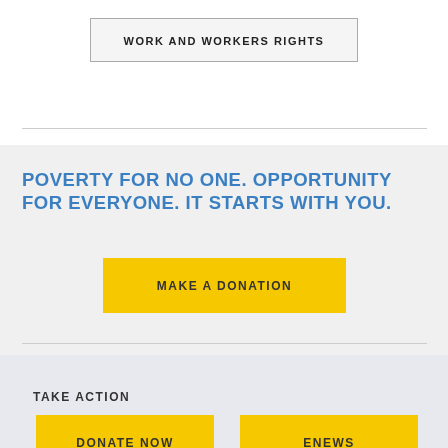WORK AND WORKERS RIGHTS
POVERTY FOR NO ONE. OPPORTUNITY FOR EVERYONE. IT STARTS WITH YOU.
MAKE A DONATION
TAKE ACTION
DONATE NOW
ENEWS